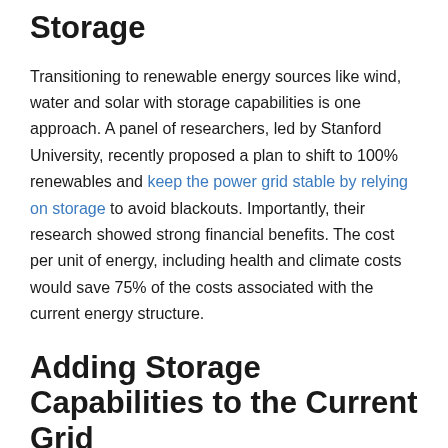Storage
Transitioning to renewable energy sources like wind, water and solar with storage capabilities is one approach. A panel of researchers, led by Stanford University, recently proposed a plan to shift to 100% renewables and keep the power grid stable by relying on storage to avoid blackouts. Importantly, their research showed strong financial benefits. The cost per unit of energy, including health and climate costs would save 75% of the costs associated with the current energy structure.
Adding Storage Capabilities to the Current Grid
Incorporating storage into the existing electrical grid is